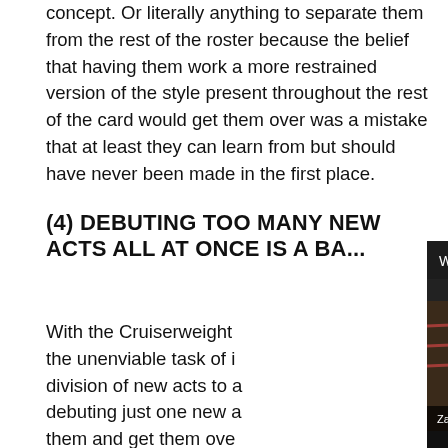concept. Or literally anything to separate them from the rest of the roster because the belief that having them work a more restrained version of the style present throughout the rest of the card would get them over was a mistake that at least they can learn from but should have never been made in the first place.
(4) DEBUTING TOO MANY NEW ACTS ALL AT ONCE IS A BA...
With the Cruiserweight... the unenviable task of i... division of new acts to a... debuting just one new a... them and get them ove... with any sort of name recognition to the majority of WWE's audience is Brian Kendrick and even he is being re-introduced with a new personality to get over. The rest of
[Figure (screenshot): Video popup overlay showing 'WWE posts BIG Q2 financials and Wrestl...' with an X close button, PWTORCH branding, thumbnail of Zack Heydon (@zheydontorch), mute button icon, and NEWSWIRE label at bottom]